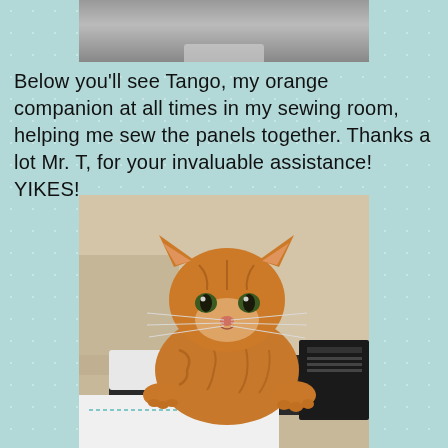[Figure (photo): Top portion of a photo partially visible at the top of the page, showing a dark object against a light background]
Below you'll see Tango, my orange companion at all times in my sewing room, helping me sew the panels together. Thanks a lot Mr. T, for your invaluable assistance! YIKES!
[Figure (photo): Photo of an orange tabby cat named Tango sitting on top of a sewing machine with white fabric/panels beneath it. The cat is looking directly at the camera.]